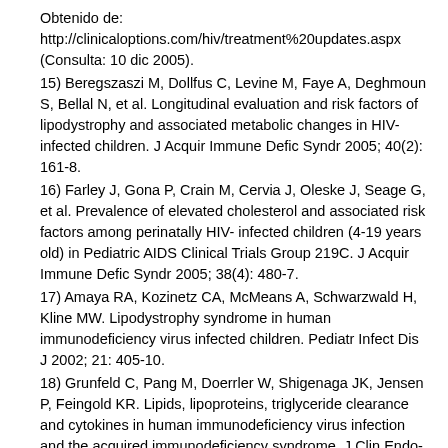Obtenido de: http://clinicaloptions.com/hiv/treatment%20updates.aspx (Consulta: 10 dic 2005).
15) Beregszaszi M, Dollfus C, Levine M, Faye A, Deghmoun S, Bellal N, et al. Longitudinal evaluation and risk factors of lipodystrophy and associated metabolic changes in HIV-infected children. J Acquir Immune Defic Syndr 2005; 40(2): 161-8.
16) Farley J, Gona P, Crain M, Cervia J, Oleske J, Seage G, et al. Prevalence of elevated cholesterol and associated risk factors among perinatally HIV- infected children (4-19 years old) in Pediatric AIDS Clinical Trials Group 219C. J Acquir Immune Defic Syndr 2005; 38(4): 480-7.
17) Amaya RA, Kozinetz CA, McMeans A, Schwarzwald H, Kline MW. Lipodystrophy syndrome in human immunodeficiency virus infected children. Pediatr Infect Dis J 2002; 21: 405-10.
18) Grunfeld C, Pang M, Doerrler W, Shigenaga JK, Jensen P, Feingold KR. Lipids, lipoproteins, triglyceride clearance and cytokines in human immunodeficiency virus infection and the acquired immunodeficiency syndrome. J Clin Endo-crinol Metab 1992; 74(5): 1045-52.